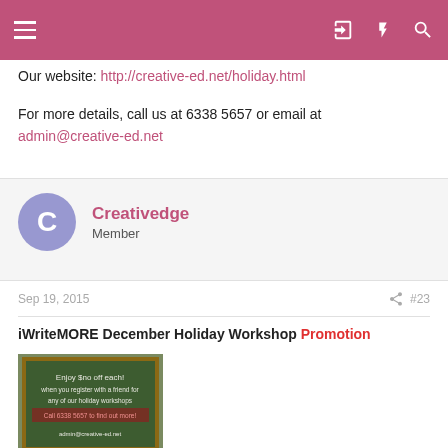Navigation header bar
Our website: http://creative-ed.net/holiday.html
For more details, call us at 6338 5657 or email at admin@creative-ed.net
Creativedge
Member
Sep 19, 2015  #23
iWriteMORE December Holiday Workshop Promotion
[Figure (photo): Chalkboard sign with text: Enjoy $no off each! when you register with a friend for any of our holiday workshops. With red promotional text.]